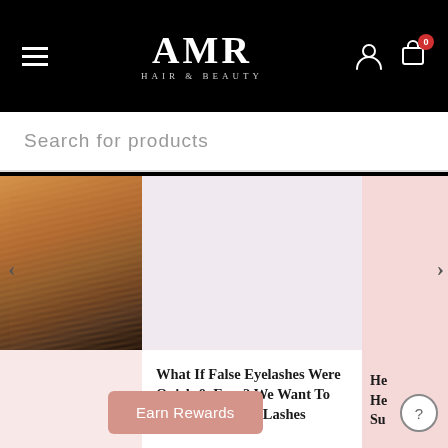AMR HAIR & BEAUTY — navigation bar with hamburger menu, logo, user icon, and cart icon
Search for products
[Figure (screenshot): Blog post card showing hair photo on left and article titled 'What If False Eyelashes Were Quick & Easy? We Want To Introduce Ardell Lashes', with a pink side panel partially showing another article starting with 'He... He... Su...']
What If False Eyelashes Were Quick & Easy? We Want To Introduce Ardell Lashes
Earn Rewards